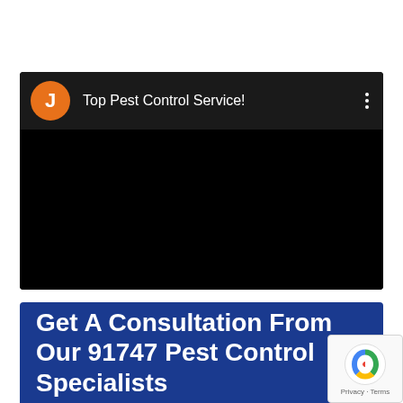[Figure (screenshot): A video card with black background showing a channel avatar (orange circle with letter J), title 'Top Pest Control Service!', and a three-dot menu icon on the right.]
Get A Consultation From Our 91747 Pest Control Specialists